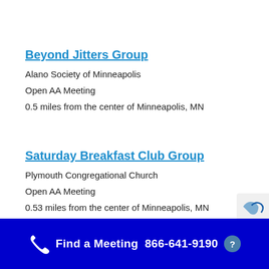Beyond Jitters Group
Alano Society of Minneapolis
Open AA Meeting
0.5 miles from the center of Minneapolis, MN
Saturday Breakfast Club Group
Plymouth Congregational Church
Open AA Meeting
0.53 miles from the center of Minneapolis, MN
Find a Meeting  866-641-9190